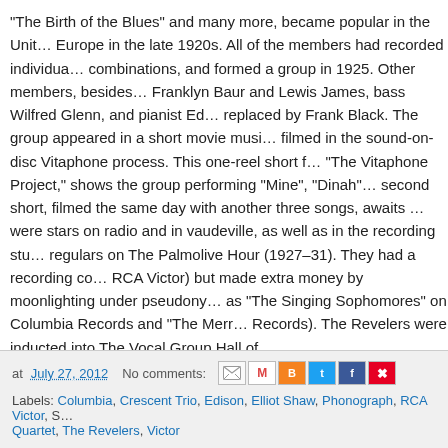"The Birth of the Blues" and many more, became popular in the Unit… Europe in the late 1920s. All of the members had recorded individua… combinations, and formed a group in 1925. Other members, besides… Franklyn Baur and Lewis James, bass Wilfred Glenn, and pianist Ed… replaced by Frank Black. The group appeared in a short movie musi… filmed in the sound-on-disc Vitaphone process. This one-reel short f… "The Vitaphone Project," shows the group performing "Mine", "Dinah"… second short, filmed the same day with another three songs, awaits … were stars on radio and in vaudeville, as well as in the recording stu… regulars on The Palmolive Hour (1927–31). They had a recording co… RCA Victor) but made extra money by moonlighting under pseudony… as "The Singing Sophomores" on Columbia Records and "The Merr… Records). The Revelers were inducted into The Vocal Group Hall of …
Listen to recordings of Elliot Shaw, and other early recording artists, … Preservation and Digitization Project at the University of California a…
at July 27, 2012   No comments:   [share icons]   Labels: Columbia, Crescent Trio, Edison, Elliot Shaw, Phonograph, RCA Victor, S… Quartet, The Revelers, Victor